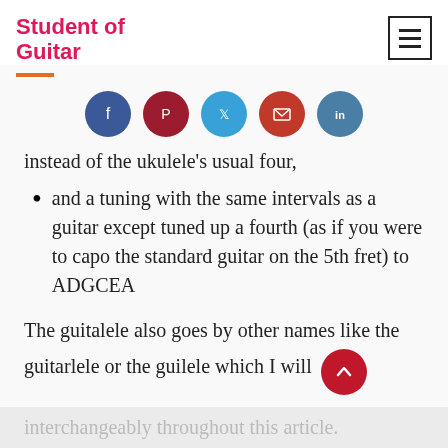Student of Guitar
[Figure (infographic): Social share buttons: Facebook (dark blue), Pinterest (dark red), Twitter (light blue), Email (orange-red), LinkedIn (steel blue)]
instead of the ukulele’s usual four,
and a tuning with the same intervals as a guitar except tuned up a fourth (as if you were to capo the standard guitar on the 5th fret) to ADGCEA
The guitalele also goes by other names like the guitarlele or the guilele which I will
interchangeably throughout this article.